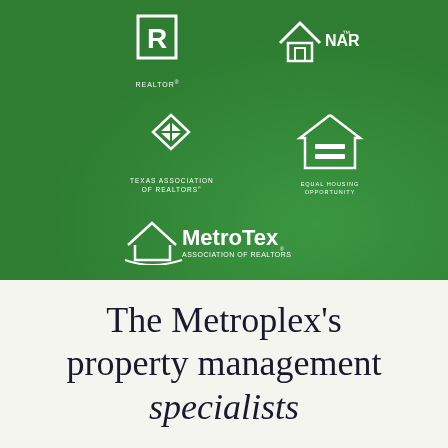[Figure (logo): Green background section with five white association logos: REALTOR, NARPM, Texas Association of Realtors, Equal Housing Opportunity, and MetroTex Association of Realtors]
The Metroplex's property management specialists